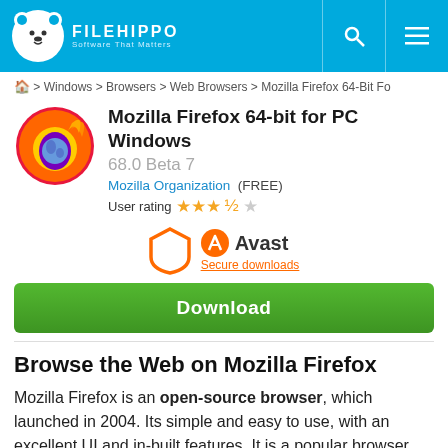FILEHIPPO Software That Matters
Home > Windows > Browsers > Web Browsers > Mozilla Firefox 64-Bit Fo
Mozilla Firefox 64-bit for PC Windows
68.0 Beta 7
Mozilla Organization (FREE)
User rating ★★★½☆
[Figure (logo): Avast shield logo with text 'Avast Secure downloads']
Download
Browse the Web on Mozilla Firefox
Mozilla Firefox is an open-source browser, which launched in 2004. Its simple and easy to use, with an excellent UI and in-built features. It is a popular browser with developers and has an active community of users. Firefox is available to download on a number of devices